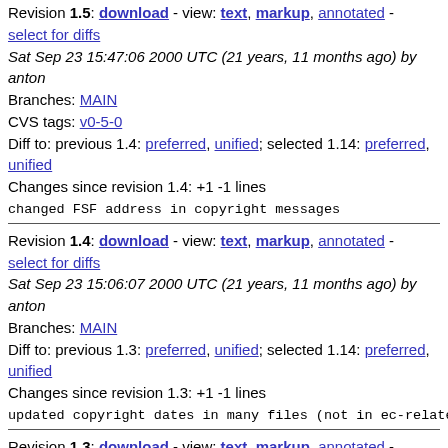Revision 1.5: download - view: text, markup, annotated - select for diffs
Sat Sep 23 15:47:06 2000 UTC (21 years, 11 months ago) by anton
Branches: MAIN
CVS tags: v0-5-0
Diff to: previous 1.4: preferred, unified; selected 1.14: preferred, unified
Changes since revision 1.4: +1 -1 lines
changed FSF address in copyright messages
Revision 1.4: download - view: text, markup, annotated - select for diffs
Sat Sep 23 15:06:07 2000 UTC (21 years, 11 months ago) by anton
Branches: MAIN
Diff to: previous 1.3: preferred, unified; selected 1.14: preferred, unified
Changes since revision 1.3: +1 -1 lines
updated copyright dates in many files (not in ec-related
Revision 1.3: download - view: text, markup, annotated - select for diffs
Fri Dec 3 18:21:05 1999 UTC (22 years, 8 months ago) by crook
Branches: MAIN
Diff to: previous 1.2: preferred, unified; selected 1.14: preferred,